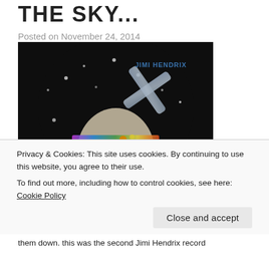THE SKY...
Posted on November 24, 2014
[Figure (photo): Black and white album cover artwork of Jimi Hendrix with large afro hair, looking upward, with a colorful iridescent X mark on the upper right portion of the image. Text 'JIMI HENDRIX' visible in upper right area.]
Privacy & Cookies: This site uses cookies. By continuing to use this website, you agree to their use.
To find out more, including how to control cookies, see here: Cookie Policy
them down. this was the second Jimi Hendrix record